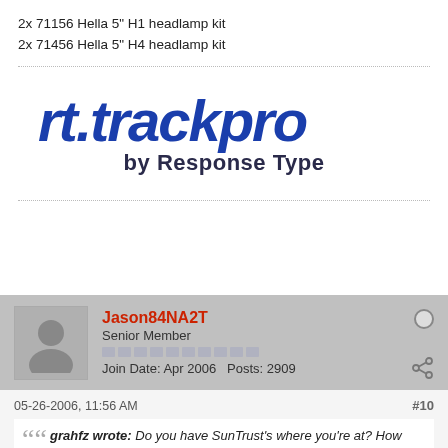2x 71156 Hella 5" H1 headlamp kit
2x 71456 Hella 5" H4 headlamp kit
[Figure (logo): rt.trackpro by Response Type logo — bold blue italic text]
Jason84NA2T
Senior Member
Join Date: Apr 2006   Posts: 2909
05-26-2006, 11:56 AM
#10
grahfz wrote: Do you have SunTrust's where you're at? How about I mail you a check before then, and you can cash it out on the 2nd at my bank, or just deposit it if you trust me enough. ;D